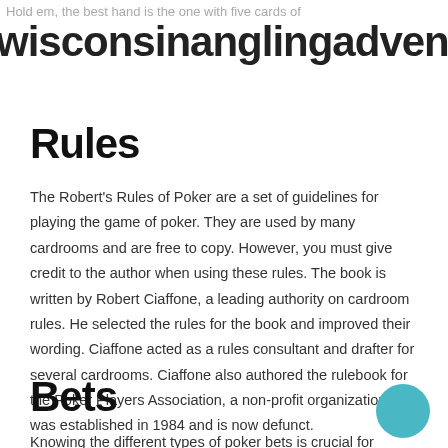Hold em, the best hand is the one with five cards of
wisconsinanglingadventures.com
Rules
The Robert's Rules of Poker are a set of guidelines for playing the game of poker. They are used by many cardrooms and are free to copy. However, you must give credit to the author when using these rules. The book is written by Robert Ciaffone, a leading authority on cardroom rules. He selected the rules for the book and improved their wording. Ciaffone acted as a rules consultant and drafter for several cardrooms. Ciaffone also authored the rulebook for the Poker Players Association, a non-profit organization that was established in 1984 and is now defunct.
Bets
Knowing the different types of poker bets is crucial for